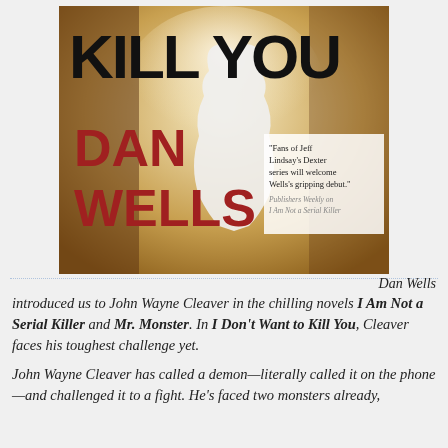[Figure (photo): Book cover of 'I Don't Want to Kill You' by Dan Wells. Shows large bold black text 'KILL YOU' at top, author name 'DAN WELLS' in large red text on the left, a silhouette figure in the center, and a blurb: 'Fans of Jeff Lindsay's Dexter series will welcome Wells's gripping debut.' Publishers Weekly on I Am Not a Serial Killer.]
Dan Wells introduced us to John Wayne Cleaver in the chilling novels I Am Not a Serial Killer and Mr. Monster. In I Don't Want to Kill You, Cleaver faces his toughest challenge yet.
John Wayne Cleaver has called a demon—literally called it on the phone—and challenged it to a fight. He's faced two monsters already,